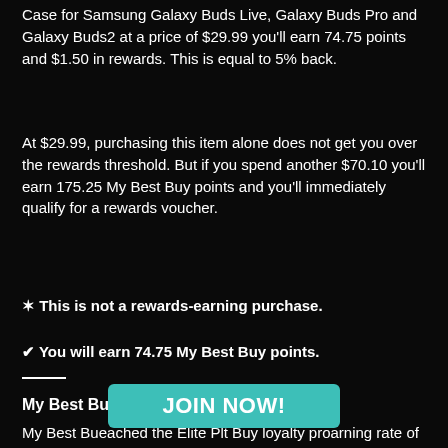Case for Samsung Galaxy Buds Live, Galaxy Buds Pro and Galaxy Buds2 at a price of $29.99 you'll earn 74.75 points and $1.50 in rewards. This is equal to 5% back.
At $29.99, purchasing this item alone does not get you over the rewards threshold. But if you spend another $70.10 you'll earn 175.25 My Best Buy points and you'll immediately qualify for a rewards voucher.
✶ This is not a rewards-earning purchase.
✔ You will earn 74.75 My Best Buy points.
My Best Buy Elite Plus Members:
My Best Bu... reached the Elite Pl... t Buy loyalty pro... arning rate of 3 points per dollar. Purchasing the
[Figure (other): A teal/turquoise JOIN NOW! button overlaying the lower portion of the page]